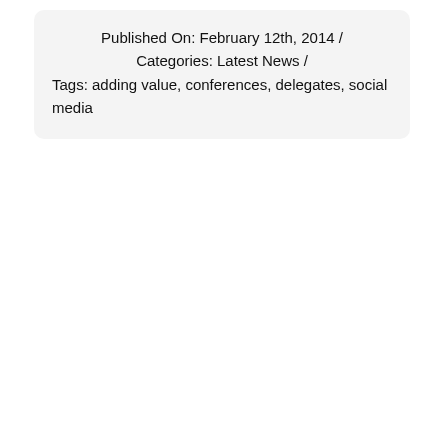Published On: February 12th, 2014 / Categories: Latest News / Tags: adding value, conferences, delegates, social media